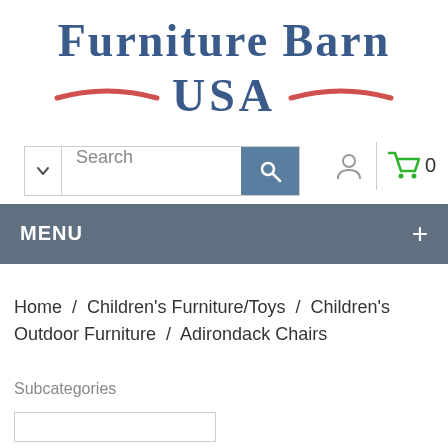[Figure (logo): Furniture Barn USA logo with serif bold text in dark blue and red decorative swoosh lines]
[Figure (screenshot): Search bar with dropdown, search input field, search button, user icon, and cart icon showing 0 items]
[Figure (screenshot): Navigation menu bar with MENU label and plus sign on dark slate background]
Home / Children's Furniture/Toys / Children's Outdoor Furniture / Adirondack Chairs
Subcategories